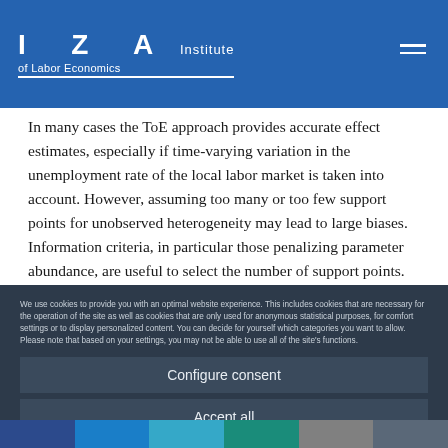IZA Institute of Labor Economics
In many cases the ToE approach provides accurate effect estimates, especially if time-varying variation in the unemployment rate of the local labor market is taken into account. However, assuming too many or too few support points for unobserved heterogeneity may lead to large biases. Information criteria, in particular those penalizing parameter abundance, are useful to select the number of support points.
We use cookies to provide you with an optimal website experience. This includes cookies that are necessary for the operation of the site as well as cookies that are only used for anonymous statistical purposes, for comfort settings or to display personalized content. You can decide for yourself which categories you want to allow. Please note that based on your settings, you may not be able to use all of the site's functions.
Configure consent
Accept all